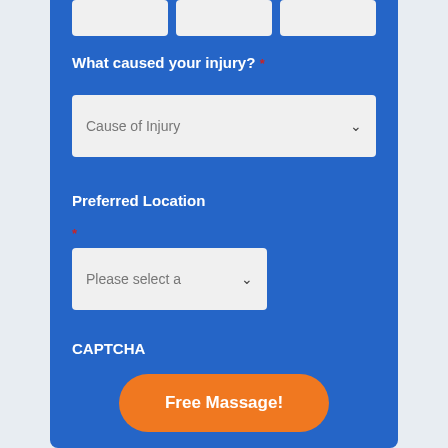[Figure (screenshot): Web form on blue background with fields: cause of injury dropdown, preferred location dropdown, CAPTCHA section, and Free Massage submit button]
What caused your injury? *
Cause of Injury
Preferred Location
*
Please select a
CAPTCHA
Free Massage!